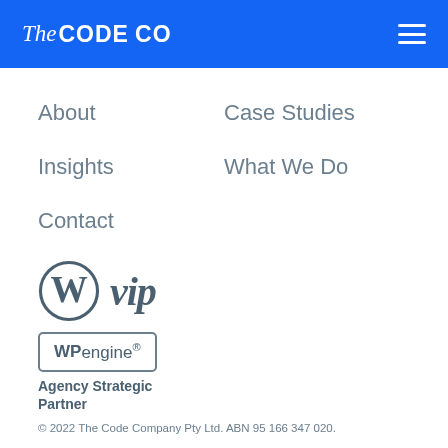The CODE CO
About
Case Studies
Insights
What We Do
Contact
[Figure (logo): WordPress VIP logo — circular W mark with 'vip' text in bold italic]
[Figure (logo): WP Engine Agency Strategic Partner logo — boxed WPengine wordmark with 'Agency Strategic Partner' text below]
© 2022 The Code Company Pty Ltd. ABN 95 166 347 020.